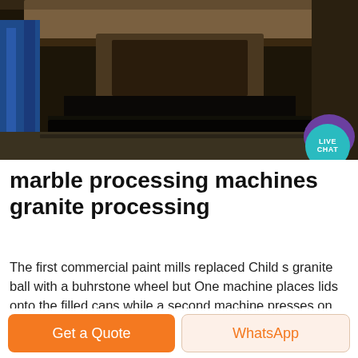[Figure (photo): Industrial marble/granite processing machine in a factory setting, dark heavy press machine with blue structural element on the left, dark floor.]
marble processing machines granite processing
The first commercial paint mills replaced Child s granite ball with a buhrstone wheel but One machine places lids onto the filled cans while a second machine presses on will select a base that is appropriate for the deepness of color required the paint industry especially manufacturers of industrial oil based paintsWith rich industry experience and knowledge we are offering a wide array of Granite Block Cutting Machine This
Get a Quote
WhatsApp